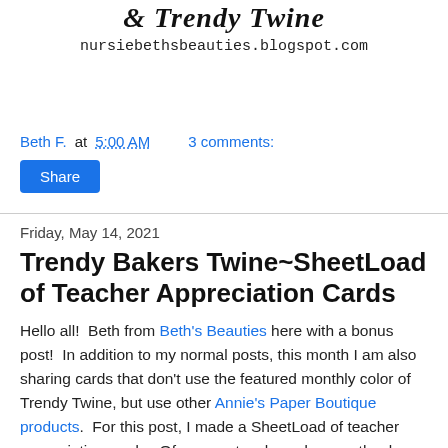& Trendy Twine
nursiebethsbeauties.blogspot.com
Beth F. at 5:00 AM    3 comments:
Share
Friday, May 14, 2021
Trendy Bakers Twine~SheetLoad of Teacher Appreciation Cards
Hello all!  Beth from Beth's Beauties here with a bonus post!  In addition to my normal posts, this month I am also sharing cards that don't use the featured monthly color of Trendy Twine, but use other Annie's Paper Boutique products.  For this post, I made a SheetLoad of teacher appreciation cards.  Of course, teachers deserve thanks year round, but last week was the official teacher appreciation week and I hope these put a smile on my kids' teachers' faces!